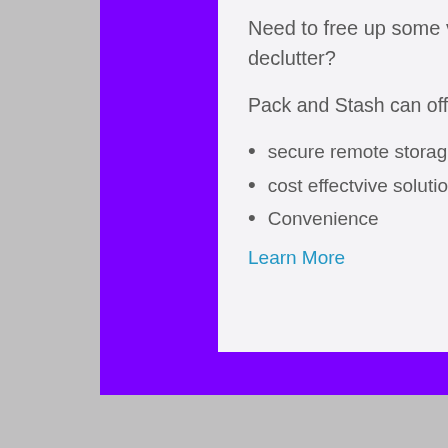Need to free up some valuable space or declutter?
Pack and Stash can offer some solutions
secure remote storage
cost effectvive solutions
Convenience
Learn More